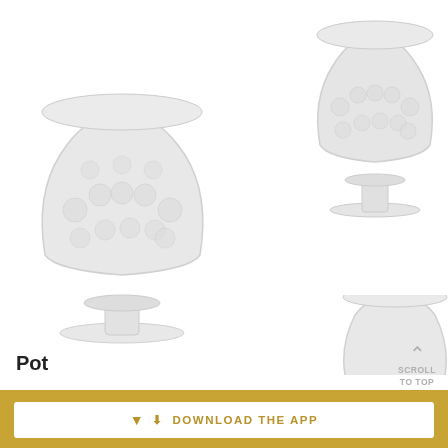[Figure (photo): Two decorative glass urn/goblet-style pots on pedestals. Left vase is larger, centered-left, with ornate embossed pattern. Right vase is smaller, upper-right area. A third partial vase is visible at bottom-right edge.]
Pot
SCROLL TO TOP
FILTER BY
DOWNLOAD THE APP